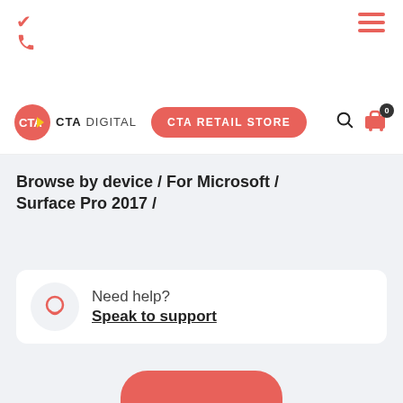[Figure (logo): CTA Digital logo: red circle with CTA text and yellow/white arrow, followed by CTA DIGITAL wordmark]
[Figure (screenshot): Website navigation bar with phone icon top-left, hamburger menu top-right, CTA Digital logo, CTA RETAIL STORE button, search icon, and cart icon with 0 badge]
Browse by device / For Microsoft / Surface Pro 2017 /
Need help?
Speak to support